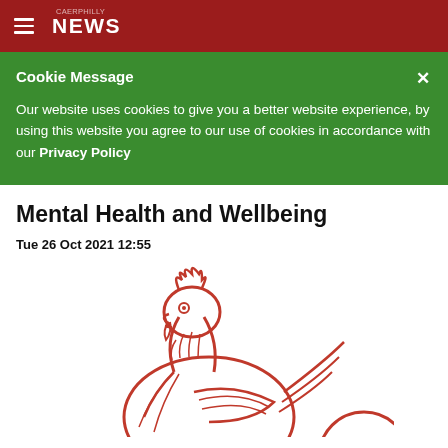NEWS
Cookie Message
Our website uses cookies to give you a better website experience, by using this website you agree to our use of cookies in accordance with our Privacy Policy
Mental Health and Wellbeing
Tue 26 Oct 2021 12:55
[Figure (illustration): Red line-art illustration of a rooster/cockerel head and upper body, drawn in red on white background, partially visible]